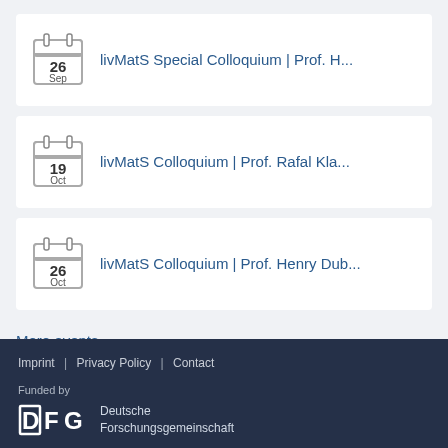livMatS Special Colloquium | Prof. H... — 26 Sep
livMatS Colloquium | Prof. Rafal Kla... — 19 Oct
livMatS Colloquium | Prof. Henry Dub... — 26 Oct
More events
Imprint | Privacy Policy | Contact
Funded by
DFG Deutsche Forschungsgemeinschaft